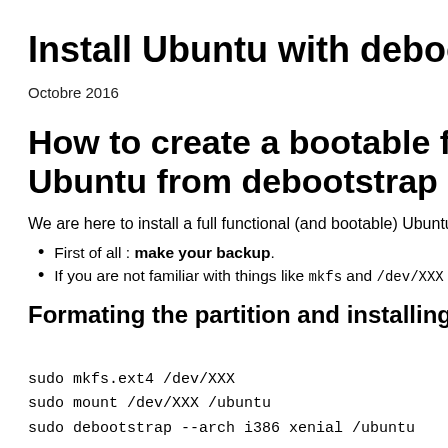Install Ubuntu with debootstrap
Octobre 2016
How to create a bootable fully functional Ubuntu from debootstrap ?
We are here to install a full functional (and bootable) Ubuntu from
First of all : make your backup.
If you are not familiar with things like mkfs and /dev/XXX yo
Formating the partition and installing the
sudo mkfs.ext4 /dev/XXX
sudo mount /dev/XXX /ubuntu
sudo debootstrap --arch i386 xenial /ubuntu
Now you have a minimal system in /ubuntu but this is not bootabl